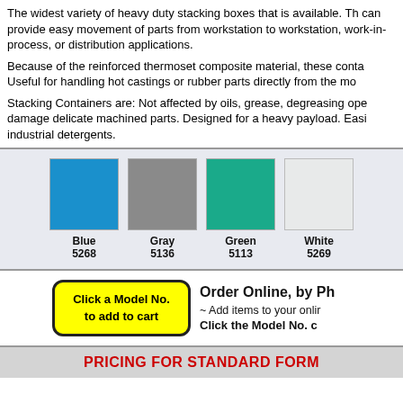The widest variety of heavy duty stacking boxes that is available. They can provide easy movement of parts from workstation to workstation, work-in-process, or distribution applications.
Because of the reinforced thermoset composite material, these containers are heat resistant. Useful for handling hot castings or rubber parts directly from the mold.
Stacking Containers are: Not affected by oils, grease, degreasing operations or acids. Will not damage delicate machined parts. Designed for a heavy payload. Easily cleaned with water and industrial detergents.
[Figure (infographic): Four color swatches: Blue (5268), Gray (5136), Green (5113), White (5269)]
[Figure (infographic): Yellow cart button labeled 'Click a Model No. to add to cart' next to order instructions]
Order Online, by Pho~ Add items to your onlin. Click the Model No. d
PRICING FOR STANDARD FORM